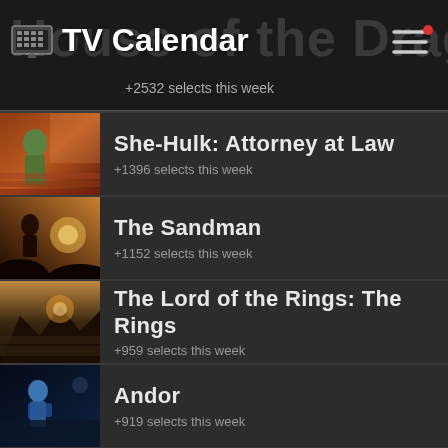TV Calendar — House of the Dragon +2532 selects this week
She-Hulk: Attorney at Law
+1396 selects this week
The Sandman
+1152 selects this week
The Lord of the Rings: The Rings
+959 selects this week
Andor
+919 selects this week